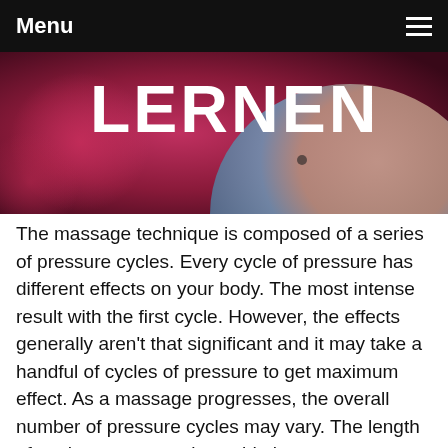Menu
[Figure (photo): Video thumbnail showing the word LERNEN in bold white text over a dark magenta/bokeh background, with a woman in a blue top visible on the right side]
The massage technique is composed of a series of pressure cycles. Every cycle of pressure has different effects on your body. The most intense result with the first cycle. However, the effects generally aren't that significant and it may take a handful of cycles of pressure to get maximum effect. As a massage progresses, the overall number of pressure cycles may vary. The length of each pressure cycle could also vary. Sometimes the amount of cycles can increase